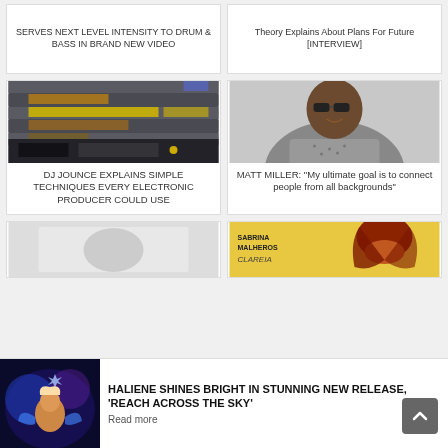SERVES NEXT LEVEL INTENSITY TO DRUM & BASS IN BRAND NEW VIDEO
Theory Explains About Plans For Future [INTERVIEW]
[Figure (screenshot): Screenshot of a digital audio workstation (DAW) showing MIDI tracks with yellow and orange highlighted regions]
DJ JOUNCE EXPLAINS SIMPLE TECHNIQUES EVERY ELECTRONIC PRODUCER COULD USE
[Figure (photo): Photo of Matt Miller, a smiling man wearing sunglasses and a grey t-shirt]
MATT MILLER: "My ultimate goal is to connect people from all backgrounds"
[Figure (photo): Partially visible photo with light grey tones, bottom row left card]
[Figure (photo): Album cover for Sabrina Malheiros - Clareia, featuring a woman with red hair]
HALIENE SHINES BRIGHT IN STUNNING NEW RELEASE, 'REACH ACROSS THE SKY'
Read more